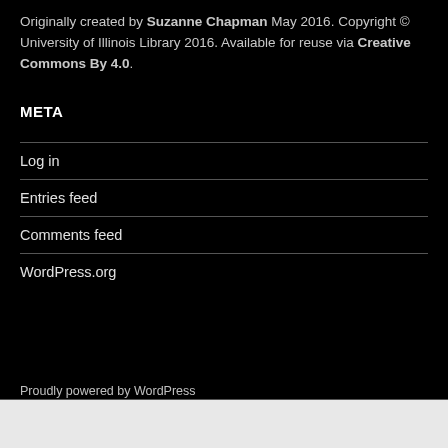Originally created by Suzanne Chapman May 2016. Copyright © University of Illinois Library 2016. Available for reuse via Creative Commons By 4.0.
META
Log in
Entries feed
Comments feed
WordPress.org
Proudly powered by WordPress